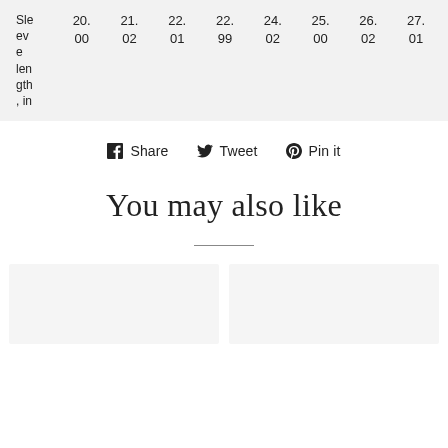| Sleeve length, in | 20.00 | 21.02 | 22.01 | 22.99 | 24.02 | 25.00 | 26.02 | 27.01 |
| --- | --- | --- | --- | --- | --- | --- | --- | --- |
Share  Tweet  Pin it
You may also like
[Figure (other): Two product image placeholder boxes side by side]